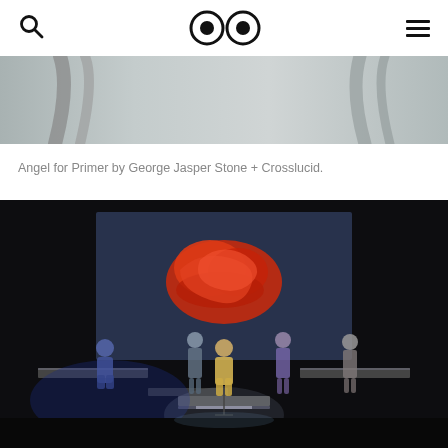Navigation bar with search icon, logo (two circles), and hamburger menu
[Figure (photo): Top cropped image showing abstract sculptural forms in grey/silver tones against a light background]
Angel for Primer by George Jasper Stone + Crosslucid.
[Figure (photo): Performance photograph showing five performers on illuminated platforms in a dark theater. A large projection screen behind them displays a red abstract sculptural form. One performer sits at far left in blue light, one stands center-left, one sits in center wearing yellow, one stands center-right, and one stands far right. The platforms glow with light from below.]